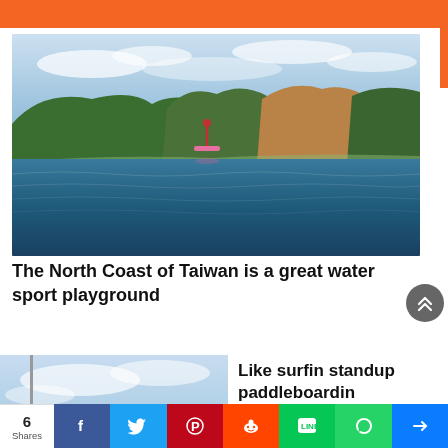[Figure (photo): Orange header banner at top of page]
[Figure (photo): Person standup paddleboarding on calm blue water with green rocky hills and cliffs in the background under a partly cloudy sky — North Coast of Taiwan]
The North Coast of Taiwan is a great water sport playground
[Figure (photo): Partial photo showing cloudy sky, beginning of an article illustration]
Like surfin standup paddleboardin
6 Shares | Facebook | Twitter | Pinterest | Reddit | LINE | WhatsApp | [share]